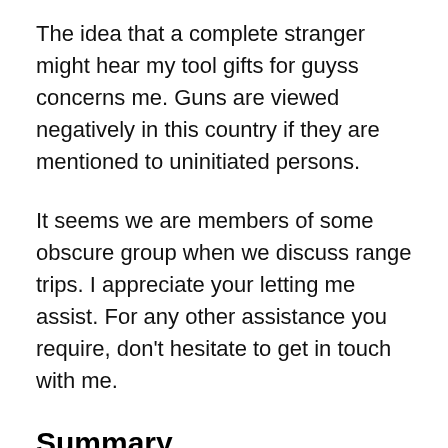The idea that a complete stranger might hear my tool gifts for guyss concerns me. Guns are viewed negatively in this country if they are mentioned to uninitiated persons.
It seems we are members of some obscure group when we discuss range trips. I appreciate your letting me assist. For any other assistance you require, don't hesitate to get in touch with me.
Summary
An essential part of creating a tool gifts for guys phrase is to make sure it contains the